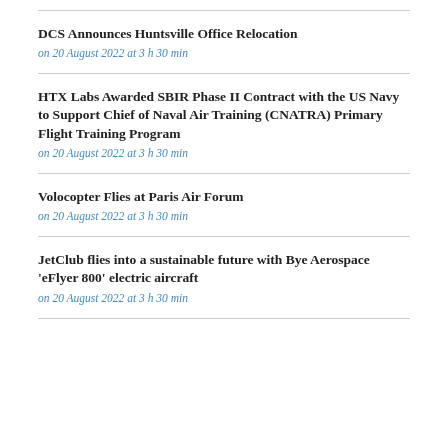DCS Announces Huntsville Office Relocation
on 20 August 2022 at 3 h 30 min
HTX Labs Awarded SBIR Phase II Contract with the US Navy to Support Chief of Naval Air Training (CNATRA) Primary Flight Training Program
on 20 August 2022 at 3 h 30 min
Volocopter Flies at Paris Air Forum
on 20 August 2022 at 3 h 30 min
JetClub flies into a sustainable future with Bye Aerospace 'eFlyer 800' electric aircraft
on 20 August 2022 at 3 h 30 min